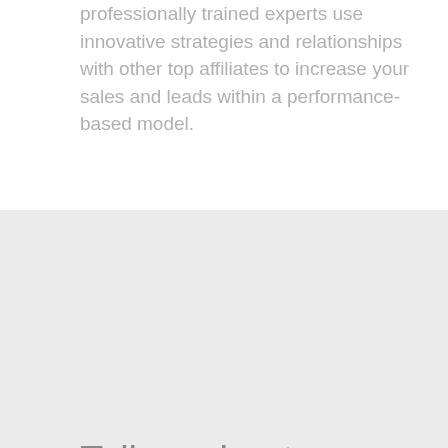professionally trained experts use innovative strategies and relationships with other top affiliates to increase your sales and leads within a performance-based model.
Tell us about your project
Let us help you get your business online and grow it with passion
We can manage all aspects of an affiliate campaign for your business